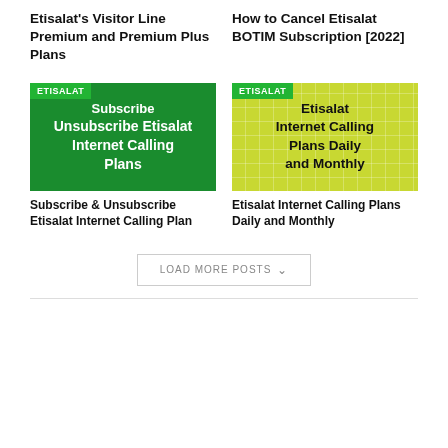Etisalat's Visitor Line Premium and Premium Plus Plans
How to Cancel Etisalat BOTIM Subscription [2022]
[Figure (screenshot): Green background image with ETISALAT badge and text 'Subscribe Unsubscribe Etisalat Internet Calling Plans']
[Figure (screenshot): Yellow-green tiled background image with ETISALAT badge and text 'Etisalat Internet Calling Plans Daily and Monthly']
Subscribe & Unsubscribe Etisalat Internet Calling Plan
Etisalat Internet Calling Plans Daily and Monthly
LOAD MORE POSTS